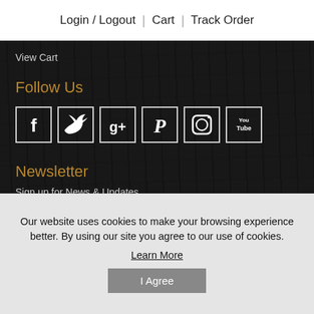Login / Logout  |  Cart  |  Track Order
View Cart
Follow Us
[Figure (illustration): Six social media icons in bordered square boxes: Facebook (f), Twitter (bird), Google+ (g+), Pinterest (p), Instagram (camera), YouTube (You Tube logo)]
Newsletter
Sign up for News & Updates
Email
Our website uses cookies to make your browsing experience better. By using our site you agree to our use of cookies.
Learn More
I Agree